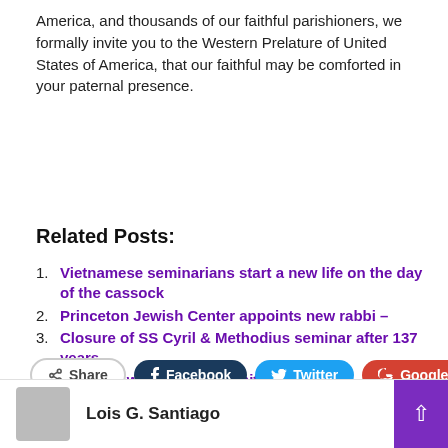America, and thousands of our faithful parishioners, we formally invite you to the Western Prelature of United States of America, that our faithful may be comforted in your paternal presence.
Related Posts:
Vietnamese seminarians start a new life on the day of the cassock
Princeton Jewish Center appoints new rabbi –
Closure of SS Cyril & Methodius seminar after 137 years
The high water mark of white supremacy
[Figure (infographic): Social share buttons: Share, Facebook, Twitter, Google+, and a plus button]
Lois G. Santiago